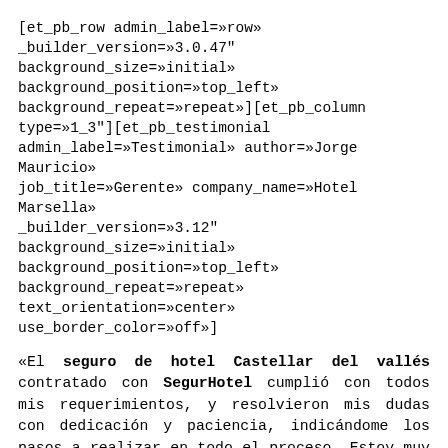[et_pb_row admin_label=»row» _builder_version=»3.0.47" background_size=»initial» background_position=»top_left» background_repeat=»repeat»][et_pb_column type=»1_3"][et_pb_testimonial admin_label=»Testimonial» author=»Jorge Mauricio» job_title=»Gerente» company_name=»Hotel Marsella» _builder_version=»3.12" background_size=»initial» background_position=»top_left» background_repeat=»repeat» text_orientation=»center» use_border_color=»off»]
«El seguro de hotel Castellar del vallés contratado con SegurHotel cumplió con todos mis requerimientos, y resolvieron mis dudas con dedicación y paciencia, indicándome los pasos a realizar en todo el proceso. Estoy muy agradecido por su atención».
[/et_pb_testimonial][/et_pb_column][et_pb_column type=»1_3"][et_pb_testimonial admin_label=»Testimonial» author=»Carlota Esteban» job_title=»Directora» company_name=»Camping Mediterraneo» _builder_version=»3.12" background_size=»initial»